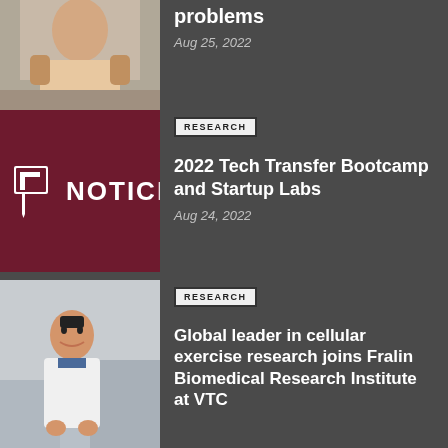[Figure (photo): Partial view of a person (cropped at top), first news item thumbnail]
problems
Aug 25, 2022
[Figure (logo): Virginia Tech NOTICE logo on dark red background]
RESEARCH
2022 Tech Transfer Bootcamp and Startup Labs
Aug 24, 2022
[Figure (photo): Man in white lab coat standing in a laboratory setting]
RESEARCH
Global leader in cellular exercise research joins Fralin Biomedical Research Institute at VTC